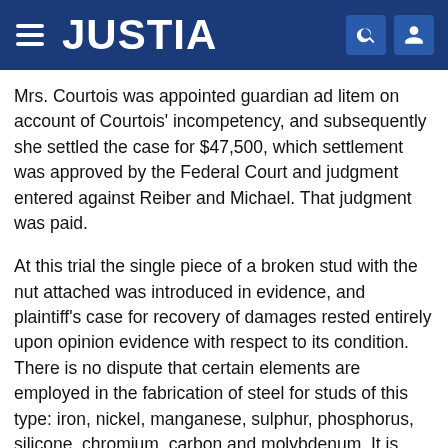JUSTIA
Mrs. Courtois was appointed guardian ad litem on account of Courtois' incompetency, and subsequently she settled the case for $47,500, which settlement was approved by the Federal Court and judgment entered against Reiber and Michael. That judgment was paid.
At this trial the single piece of a broken stud with the nut attached was introduced in evidence, and plaintiff's case for recovery of damages rested entirely upon opinion evidence with respect to its condition. There is no dispute that certain elements are employed in the fabrication of steel for studs of this type: iron, nickel, manganese, sulphur, phosphorus, silicone, chromium, carbon and molybdenum. It is likewise undisputed that analysis of the broken stud showed that those elements in proper proportion had been used in its fabrication, and that such composition is standard for a high-